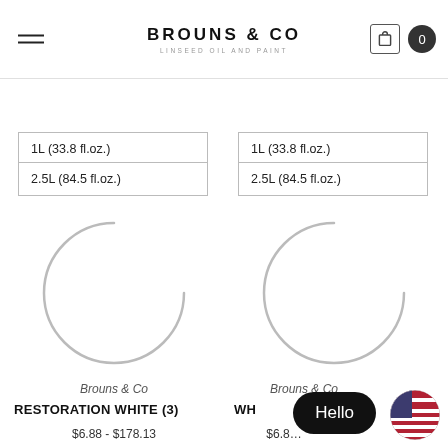BROUNS & CO — LINSEED OIL AND PAINT
1L (33.8 fl.oz.)
2.5L (84.5 fl.oz.)
1L (33.8 fl.oz.)
2.5L (84.5 fl.oz.)
[Figure (illustration): Loading spinner circle arc, grey, for product image placeholder — left column]
[Figure (illustration): Loading spinner circle arc, grey, for product image placeholder — right column]
Brouns & Co
RESTORATION WHITE (3)
$6.88 - $178.13
Brouns & Co
WH…
$6.8…
Hello